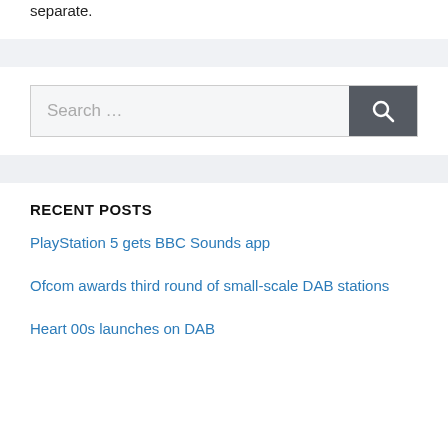separate.
[Figure (other): Search bar with text input placeholder 'Search ...' and a dark gray search button with magnifying glass icon]
RECENT POSTS
PlayStation 5 gets BBC Sounds app
Ofcom awards third round of small-scale DAB stations
Heart 00s launches on DAB